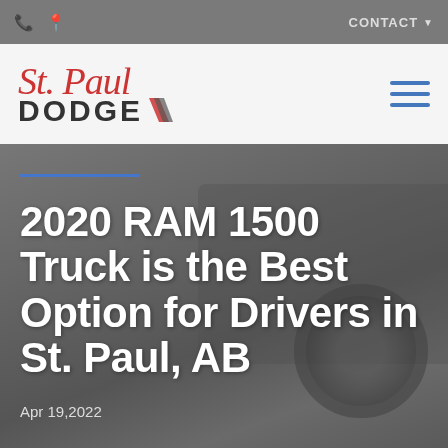CONTACT
[Figure (logo): St. Paul Dodge dealership logo with cursive red 'St. Paul' text above bold 'DODGE' with racing stripe graphic]
2020 RAM 1500 Truck is the Best Option for Drivers in St. Paul, AB
Apr 19,2022